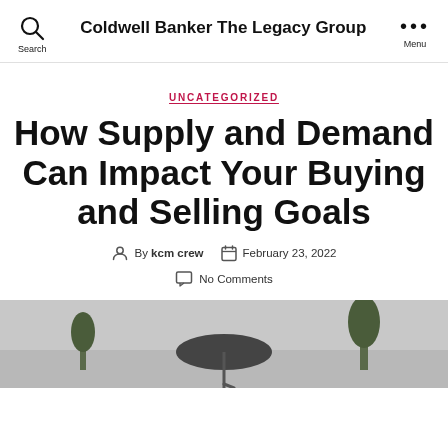Coldwell Banker The Legacy Group  Search  Menu
UNCATEGORIZED
How Supply and Demand Can Impact Your Buying and Selling Goals
By kcm crew  February 23, 2022
No Comments
[Figure (photo): Person holding an umbrella in rainy/overcast outdoor setting with trees in background]